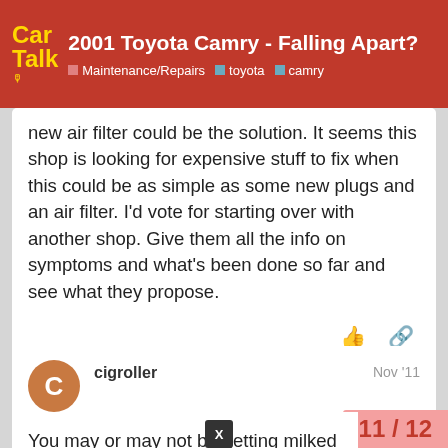2001 Toyota Camry - Falling Apart? | Maintenance/Repairs · toyota · camry
new air filter could be the solution. It seems this shop is looking for expensive stuff to fix when this could be as simple as some new plugs and an air filter. I'd vote for starting over with another shop. Give them all the info on symptoms and what's been done so far and see what they propose.
cigroller Nov '11
You may or may not be getting milked. Vague and intermittent problems like a rough idle sort out - because they're vague and
11 / 12